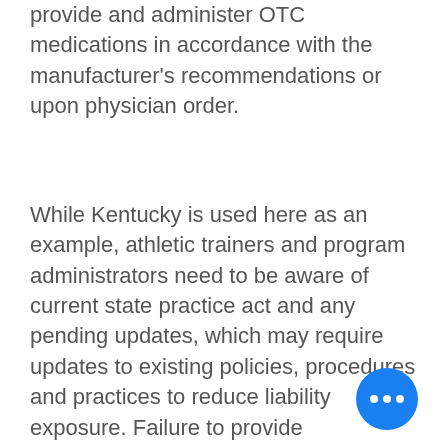provide and administer OTC medications in accordance with the manufacturer's recommendations or upon physician order.
While Kentucky is used here as an example, athletic trainers and program administrators need to be aware of current state practice act and any pending updates, which may require updates to existing policies, procedures and practices to reduce liability exposure. Failure to provide educational training and operate under contemporary standard of practice for a new state defined scope of practice could create a liability exposure.  Understanding what your state practice act and